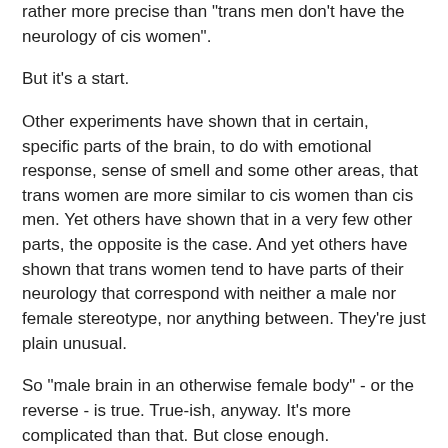rather more precise than "trans men don't have the neurology of cis women".
But it's a start.
Other experiments have shown that in certain, specific parts of the brain, to do with emotional response, sense of smell and some other areas, that trans women are more similar to cis women than cis men. Yet others have shown that in a very few other parts, the opposite is the case. And yet others have shown that trans women tend to have parts of their neurology that correspond with neither a male nor female stereotype, nor anything between. They're just plain unusual.
So "male brain in an otherwise female body" - or the reverse - is true. True-ish, anyway. It's more complicated than that. But close enough.
And other experiments still have shown that those sexually attracted to men have specific parts of the brain tending towards one pattern, those sexually attracted to women tending towards another pattern. Regardless of whether they're straight men, gay men, straight women, lesbian women...